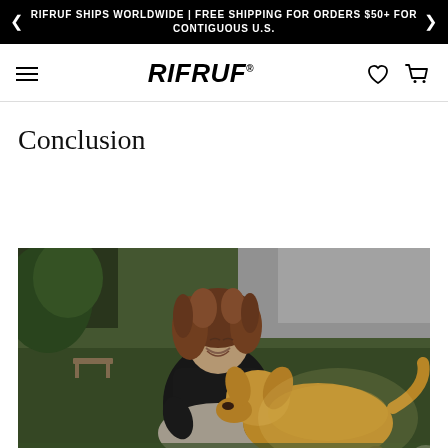RIFRUF SHIPS WORLDWIDE | FREE SHIPPING FOR ORDERS $50+ FOR CONTIGUOUS U.S.
[Figure (logo): RIFRUF logo in bold italic black text with navigation icons (hamburger menu, heart, shopping cart)]
Conclusion
[Figure (photo): A young woman with curly hair wearing a black t-shirt sits on green artificial grass, smiling and petting a golden retriever dog. Outdoor setting with a concrete wall in the background.]